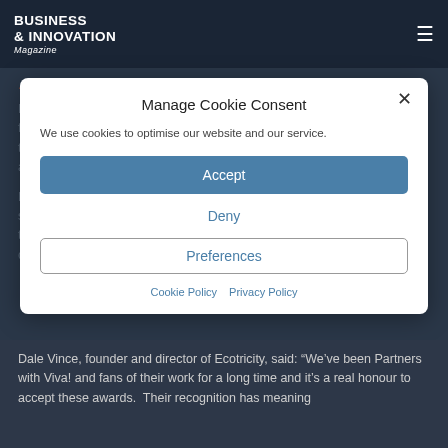BUSINESS & INNOVATION Magazine
...g Consulting, including machinery, pontoon, Bills of w gasmills.
Dale then went into launch Forest Green Rovers, the world's first vegan football team. The successful team spreads the message of sustainability to the world of sport and sells 100% vegan food, including vegan burgers and pies, at their ground in Nailsworth, Gloucestershire.
More recently Ecotricty have created Ecotalk, a green mobile phone service powered by 100% green electricity. Profit from this venture is used to buy land to give back to nature, creating vital new habitats for bees and other wildlife.
Manage Cookie Consent
We use cookies to optimise our website and our service.
Accept
Deny
Preferences
Cookie Policy   Privacy Policy
Dale Vince, founder and director of Ecotricity, said: "We've been Partners with Viva! and fans of their work for a long time and it's a real honour to accept these awards.  Their recognition has meaning because of the work they do on the ground and the clout it brings...